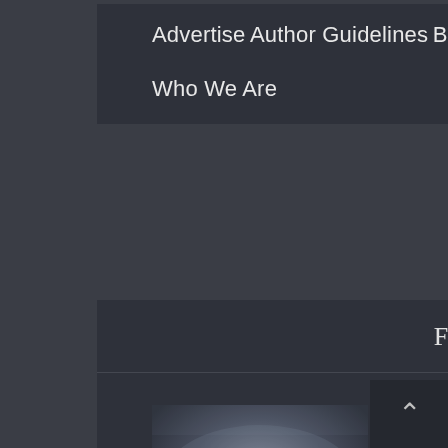Advertise
Author Guidelines
Become an Author
Blog
Contact
Homepage
Who We Are
Featured Posts
[Figure (photo): A soldier or military character in dark tactical gear, foggy/smoky background, likely a Call of Duty game character or promotional image]
How To Be A Pro At Call of Duty: Mobile